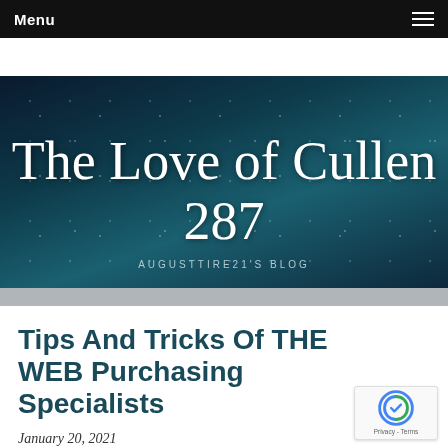Menu
[Figure (illustration): Blog header banner with night sky / galaxy background. Large script text reads 'The Love of Cullen 287' with subtitle 'AUGUSTTIRE21'S BLOG']
Tips And Tricks Of THE WEB Purchasing Specialists
January 20, 2021